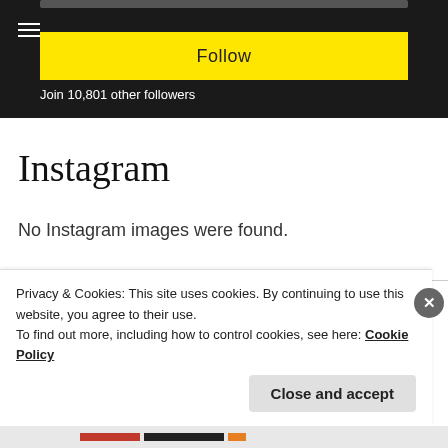[Figure (screenshot): Top black bar with hamburger menu icon, yellow Follow button, and white text 'Join 10,801 other followers']
Instagram
No Instagram images were found.
Follow on Twitter
Privacy & Cookies: This site uses cookies. By continuing to use this website, you agree to their use.
To find out more, including how to control cookies, see here: Cookie Policy
Close and accept